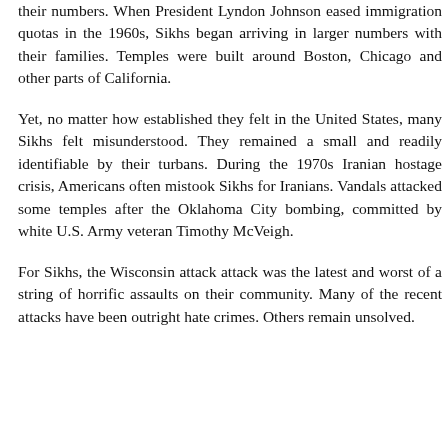their numbers. When President Lyndon Johnson eased immigration quotas in the 1960s, Sikhs began arriving in larger numbers with their families. Temples were built around Boston, Chicago and other parts of California.
Yet, no matter how established they felt in the United States, many Sikhs felt misunderstood. They remained a small and readily identifiable by their turbans. During the 1970s Iranian hostage crisis, Americans often mistook Sikhs for Iranians. Vandals attacked some temples after the Oklahoma City bombing, committed by white U.S. Army veteran Timothy McVeigh.
For Sikhs, the Wisconsin attack attack was the latest and worst of a string of horrific assaults on their community. Many of the recent attacks have been outright hate crimes. Others remain unsolved.